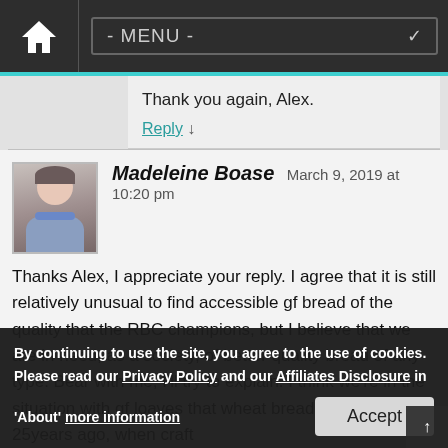- MENU -
Thank you again, Alex.
Reply ↓
Madeleine Boase   March 9, 2019 at 10:20 pm
Thanks Alex, I appreciate your reply. I agree that it is still relatively unusual to find accessible gf bread of the quality that the RBC champions, but I believe that we are in need, as a society, of better quality bread of any type. Bear with me, I'll try to explain. I think we're in the situation with gf loaves that wheat bread reached 25years ago, when craft bakeries were competing with supermarket/industrial bakeries to increase their loaves' size and superficial appearance of variety, we... , with little regard for the health of the consumer. We have been sold crap loaves of this type for yonks and it's only with the new
By continuing to use the site, you agree to the use of cookies. Please read our Privacy Policy and our Affiliates Disclosure in 'About' more information   Accept